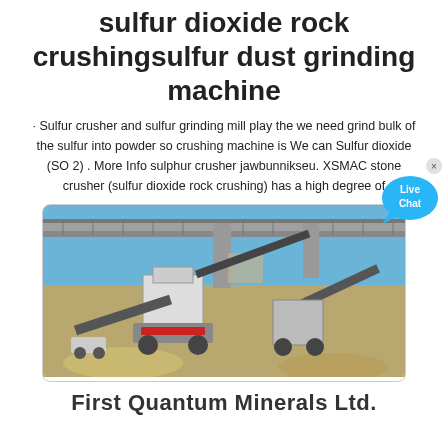sulfur dioxide rock crushingsulfur dust grinding machine
· Sulfur crusher and sulfur grinding mill play the we need grind bulk of the sulfur into powder so crushing machine is We can Sulfur dioxide (SO 2) . More Info sulphur crusher jawbunnikseu. XSMAC stone crusher (sulfur dioxide rock crushing) has a high degree of
[Figure (photo): Industrial rock crushing and screening plant with conveyor belts, under a highway overpass bridge, on a dirt/gravel site.]
First Quantum Minerals Ltd.